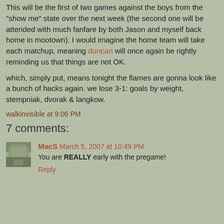This will be the first of two games against the boys from the "show me" state over the next week (the second one will be attended with much fanfare by both Jason and myself back home in mootown). I would imagine the home team will take each matchup, meaning duncan will once again be rightly reminding us that things are not OK.
which, simply put, means tonight the flames are gonna look like a bunch of hacks again. we lose 3-1: goals by weight, stempniak, dvorak & langkow.
walkinvisible at 9:06 PM
7 comments:
MacS March 5, 2007 at 10:49 PM
You are REALLY early with the pregame!
Reply